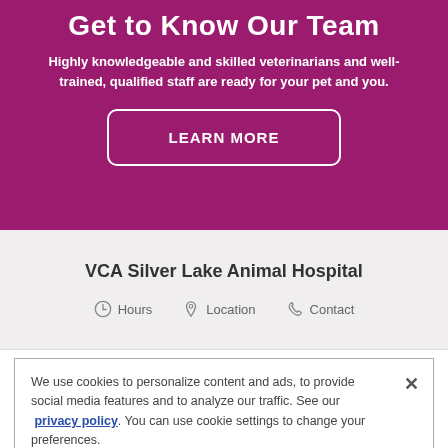Get to Know Our Team
Highly knowledgeable and skilled veterinarians and well-trained, qualified staff are ready for your pet and you.
LEARN MORE
VCA Silver Lake Animal Hospital
Hours  Location  Contact
We use cookies to personalize content and ads, to provide social media features and to analyze our traffic. See our privacy policy. You can use cookie settings to change your preferences.
Cookies Settings